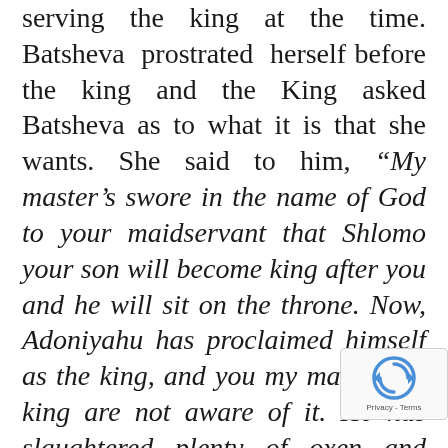serving the king at the time. Batsheva prostrated herself before the king and the King asked Batsheva as to what it is that she wants. She said to him, “My master’s swore in the name of God to your maidservant that Shlomo your son will become king after you and he will sit on the throne. Now, Adoniyahu has proclaimed himself as the king, and you my master the king are not aware of it. He has slaughtered plenty of oxen and sheep and invited all of the princes, the sons of the king, to the festival, including Avyasar
[Figure (other): reCAPTCHA badge with rotating arrows logo and Privacy - Terms text]